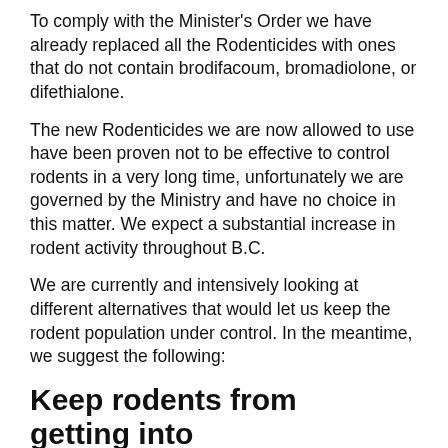To comply with the Minister's Order we have already replaced all the Rodenticides with ones that do not contain brodifacoum, bromadiolone, or difethialone.
The new Rodenticides we are now allowed to use have been proven not to be effective to control rodents in a very long time, unfortunately we are governed by the Ministry and have no choice in this matter. We expect a substantial increase in rodent activity throughout B.C.
We are currently and intensively looking at different alternatives that would let us keep the rodent population under control. In the meantime, we suggest the following:
Keep rodents from getting into buildings
Seal all openings that are bigger than 6 mm (¼ in). Mice